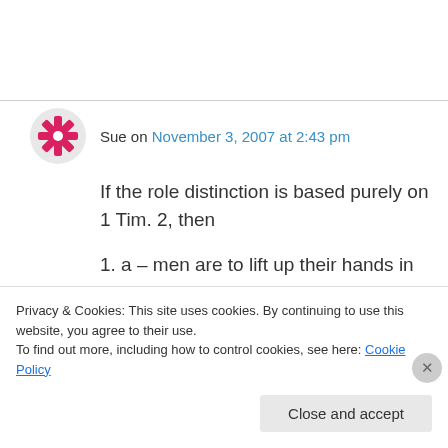Sue on November 3, 2007 at 2:43 pm
If the role distinction is based purely on 1 Tim. 2, then
1. a – men are to lift up their hands in prayer, (but women should not do this)
1. b – men are not to be angry and dispute, (but women may?)
Privacy & Cookies: This site uses cookies. By continuing to use this website, you agree to their use.
To find out more, including how to control cookies, see here: Cookie Policy
Close and accept